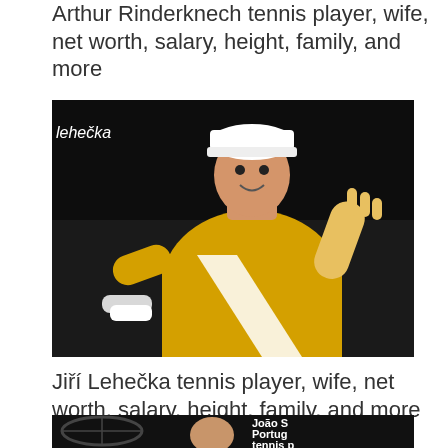Arthur Rinderknech tennis player, wife, net worth, salary, height, family, and more
[Figure (photo): Jiří Lehečka tennis player in yellow shirt, white cap, with lehečka watermark label]
Jiří Lehečka tennis player, wife, net worth, salary, height, family, and more
[Figure (photo): João Sousa Portugal tennis player photo, partially visible with text overlay]